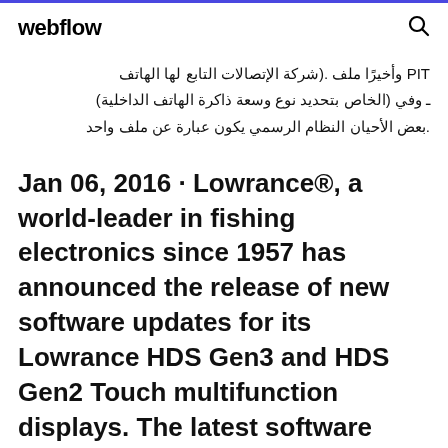webflow
PIT وأخيرًا ملف .(شركة الإتصالات التابع لها الهاتف ـ وفي (الخاص بتحديد نوع وسعة ذاكرة الهاتف الداخلية) .بعض الأحيان النظام الرسمي يكون عبارة عن ملف واحد
Jan 06, 2016 · Lowrance®, a world-leader in fishing electronics since 1957 has announced the release of new software updates for its Lowrance HDS Gen3 and HDS Gen2 Touch multifunction displays. The latest software